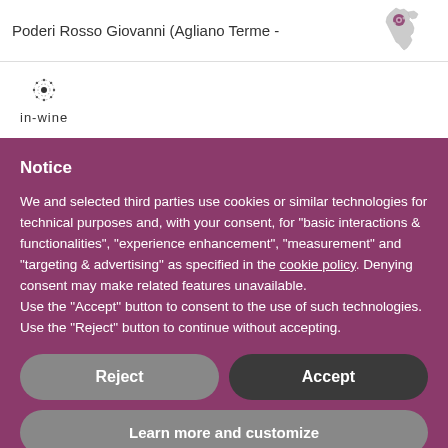Poderi Rosso Giovanni (Agliano Terme -
[Figure (map): Small regional map of Italy highlighting a wine region near Agliano Terme with a pink/purple marker]
[Figure (logo): in-wine logo with circular dotted icon above the text 'in-wine']
Notice
We and selected third parties use cookies or similar technologies for technical purposes and, with your consent, for “basic interactions & functionalities”, “experience enhancement”, “measurement” and “targeting & advertising” as specified in the cookie policy. Denying consent may make related features unavailable.
Use the “Accept” button to consent to the use of such technologies. Use the “Reject” button to continue without accepting.
Reject
Accept
Learn more and customize